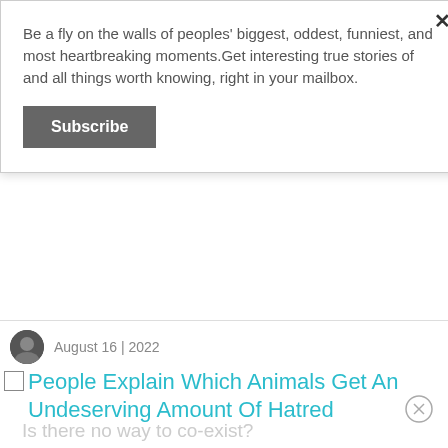Be a fly on the walls of peoples' biggest, oddest, funniest, and most heartbreaking moments.Get interesting true stories of and all things worth knowing, right in your mailbox.
Subscribe
August 16 | 2022
People Explain Which Animals Get An Undeserving Amount Of Hatred
So many animals are only dangerous because of their need for survival or hunger.
Humans make the relationship with the animal kingdom worse.
Is there no way to co-exist?